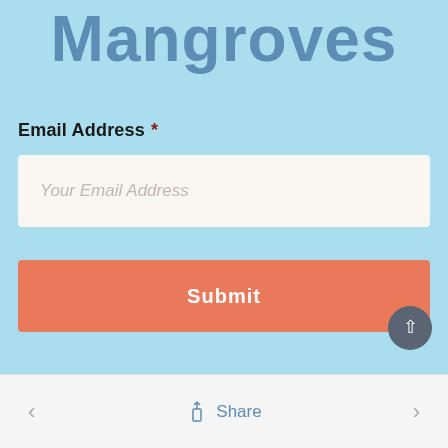Mangroves
Email Address *
Your Email Address
Submit
< Share >